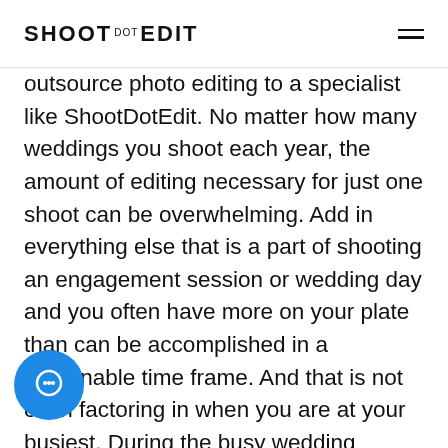SHOOT DOT EDIT
outsource photo editing to a specialist like ShootDotEdit. No matter how many weddings you shoot each year, the amount of editing necessary for just one shoot can be overwhelming. Add in everything else that is a part of shooting an engagement session or wedding day and you often have more on your plate than can be accomplished in a reasonable time frame. And that is not even factoring in when you are at your busiest. During the busy wedding season, your weeks and weekends are booked with engagement sessions and wedding shoots. You have meetings, contracts, shooting, product deliveries, and more.